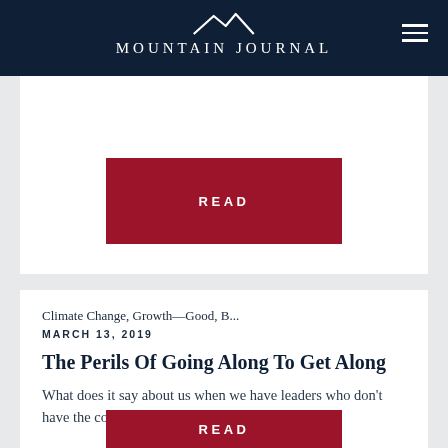Mountain Journal
[Figure (logo): Mountain Journal logo with mountain peak silhouette above the text]
READ
Climate Change, Growth—Good, B...
MARCH 13, 2019
The Perils Of Going Along To Get Along
What does it say about us when we have leaders who don't have the courage to act?
READ